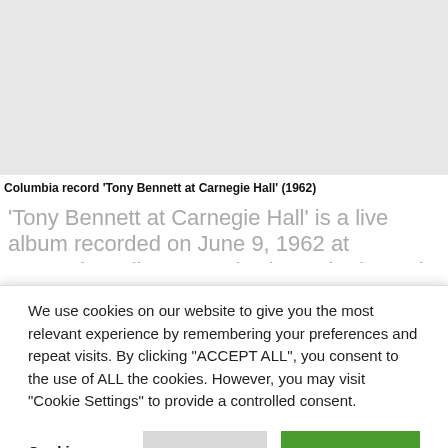[Figure (photo): Light gray placeholder area representing an album cover image for Tony Bennett at Carnegie Hall]
Columbia record 'Tony Bennett at Carnegie Hall' (1962)
'Tony Bennett at Carnegie Hall' is a live album recorded on June 9, 1962 at Carnegie Hall, New York City and released
We use cookies on our website to give you the most relevant experience by remembering your preferences and repeat visits. By clicking "ACCEPT ALL", you consent to the use of ALL the cookies. However, you may visit "Cookie Settings" to provide a controlled consent.
Cookie Settings | REJECT ALL | ACCEPT ALL